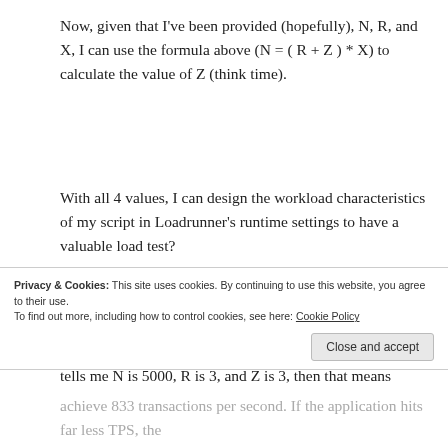Now, given that I've been provided (hopefully), N, R, and X, I can use the formula above (N = ( R + Z ) * X) to calculate the value of Z (think time).
With all 4 values, I can design the workload characteristics of my script in Loadrunner's runtime settings to have a valuable load test?
Using real numbers, in this hypothetical, if the business tells me N is 5000, R is 3, and Z is 3, then that means
Privacy & Cookies: This site uses cookies. By continuing to use this website, you agree to their use.
To find out more, including how to control cookies, see here: Cookie Policy
achieve 833 transactions per second. If the application hits far less TPS, the